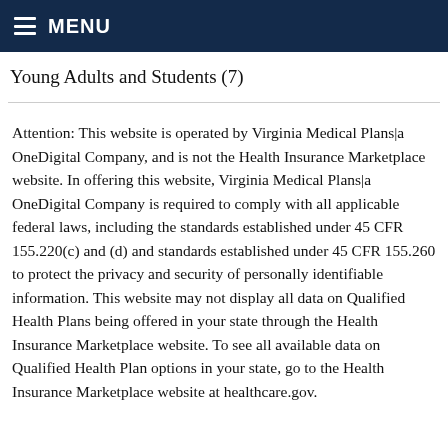MENU
Young Adults and Students (7)
Attention: This website is operated by Virginia Medical Plans|a OneDigital Company, and is not the Health Insurance Marketplace website. In offering this website, Virginia Medical Plans|a OneDigital Company is required to comply with all applicable federal laws, including the standards established under 45 CFR 155.220(c) and (d) and standards established under 45 CFR 155.260 to protect the privacy and security of personally identifiable information. This website may not display all data on Qualified Health Plans being offered in your state through the Health Insurance Marketplace website. To see all available data on Qualified Health Plan options in your state, go to the Health Insurance Marketplace website at healthcare.gov.